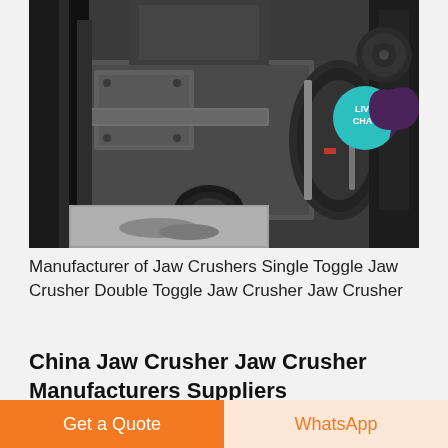[Figure (photo): Photo of industrial jaw crusher machinery, heavy metal equipment with pulleys, belts, and mechanical components, dusty/dirty industrial setting]
Manufacturer of Jaw Crushers Single Toggle Jaw Crusher Double Toggle Jaw Crusher Jaw Crusher
China Jaw Crusher Jaw Crusher Manufacturers Suppliers
[Figure (photo): Two partial product images of jaw crushers at the bottom of the page]